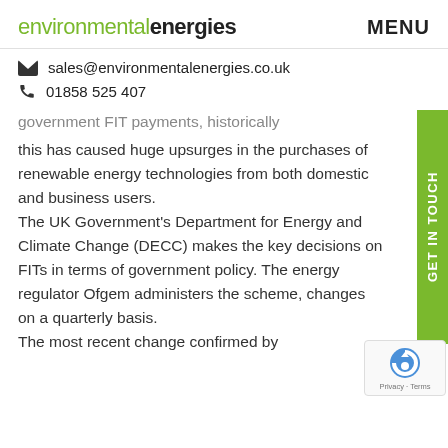environmentalenergies   MENU
sales@environmentalenergies.co.uk
01858 525 407
government FIT payments, historically this has caused huge upsurges in the purchases of renewable energy technologies from both domestic and business users.
The UK Government's Department for Energy and Climate Change (DECC) makes the key decisions on FITs in terms of government policy. The energy regulator Ofgem administers the scheme, changes on a quarterly basis.
The most recent change confirmed by